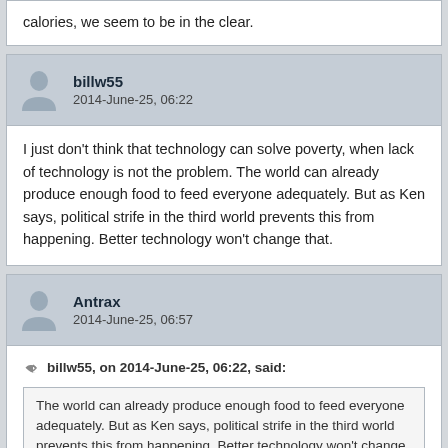calories, we seem to be in the clear.
billw55
2014-June-25, 06:22
I just don't think that technology can solve poverty, when lack of technology is not the problem. The world can already produce enough food to feed everyone adequately. But as Ken says, political strife in the third world prevents this from happening. Better technology won't change that.
Antrax
2014-June-25, 06:57
billw55, on 2014-June-25, 06:22, said:
The world can already produce enough food to feed everyone adequately. But as Ken says, political strife in the third world prevents this from happening. Better technology won't change that.
I don't see how the conclusion follows from the premise. If people worked together you could do a lot of the things you do today with